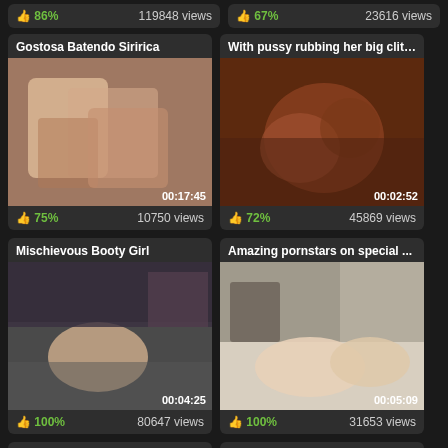86% | 119848 views
67% | 23616 views
Gostosa Batendo Siririca | 00:17:45 | 75% | 10750 views
With pussy rubbing her big clit ... | 00:02:52 | 72% | 45869 views
Mischievous Booty Girl | 00:04:25 | 100% | 80647 views
Amazing pornstars on special ... | 00:05:09 | 100% | 31653 views
On Webcam
Sexy ts on camera